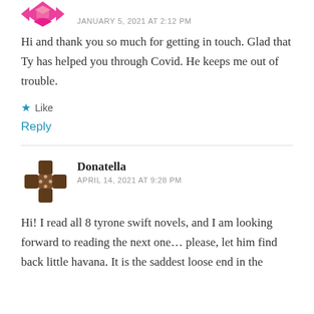JANUARY 5, 2021 AT 2:12 PM
Hi and thank you so much for getting in touch. Glad that Ty has helped you through Covid. He keeps me out of trouble.
Like
Reply
Donatella
APRIL 14, 2021 AT 9:28 PM
Hi! I read all 8 tyrone swift novels, and I am looking forward to reading the next one... please, let him find back little havana. It is the saddest loose end in the